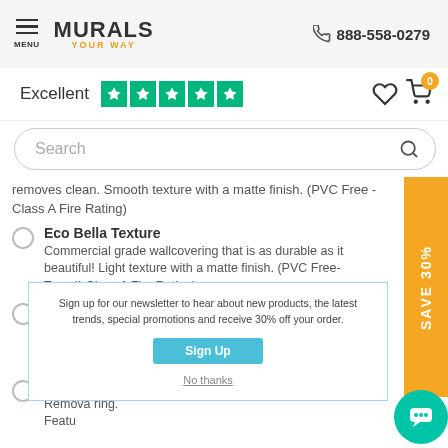MENU | MURALS YOUR WAY | 888-558-0279
Excellent ★★★★★
Search
removes clean. Smooth texture with a matte finish. (PVC Free - Class A Fire Rating)
Eco Bella Texture - Commercial grade wallcovering that is as durable as it beautiful! Light texture with a matte finish. (PVC Free-Type II-Class A Fire Rating)
Frosted Window Film - Removable and reusable frosted window film featuring micro-adhesion suction technology. Smooth surface and matte fi...
SmartS... - Remova... ring. Featu... A Fire...
Sign up for our newsletter to hear about new products, the latest trends, special promotions and receive 30% off your order.
Sign Up
No thanks